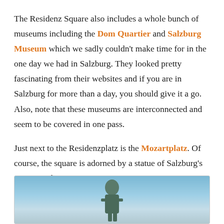The Residenz Square also includes a whole bunch of museums including the Dom Quartier and Salzburg Museum which we sadly couldn't make time for in the one day we had in Salzburg. They looked pretty fascinating from their websites and if you are in Salzburg for more than a day, you should give it a go. Also, note that these museums are interconnected and seem to be covered in one pass.
Just next to the Residenzplatz is the Mozartplatz. Of course, the square is adorned by a statue of Salzburg's most popular guy.
[Figure (photo): Partial photo of a statue (likely Mozart) against a blue sky background, cropped at the bottom of the page.]